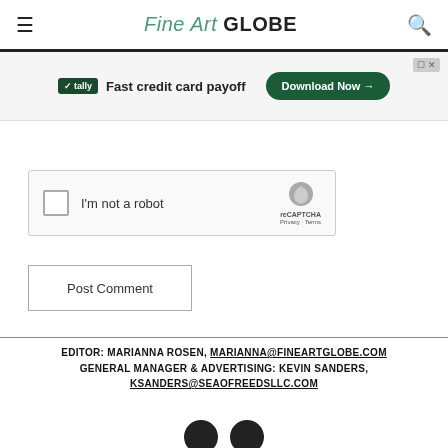Fine Art GLOBE
[Figure (screenshot): Tally advertisement banner: Fast credit card payoff with Download Now button]
[Figure (screenshot): reCAPTCHA widget with checkbox labeled I'm not a robot]
Post Comment
EDITOR: MARIANNA ROSEN, MARIANNA@FINEARTGLOBE.COM GENERAL MANAGER & ADVERTISING: KEVIN SANDERS, KSANDERS@SEAOFREEDSLLC.COM
[Figure (illustration): Two partial social media icon circles at bottom]